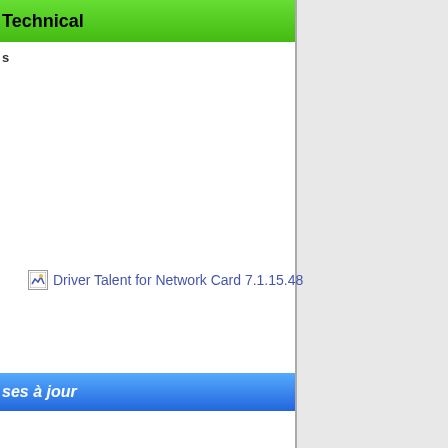Technical
s
[Figure (screenshot): Broken image icon followed by link text 'Driver Talent for Network Card 7.1.15.48' in blue/purple color]
ses à jour